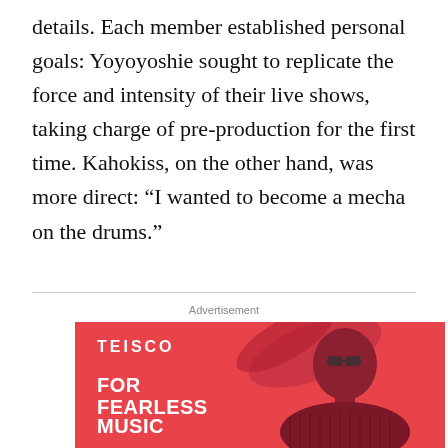details. Each member established personal goals: Yoyoyoshie sought to replicate the force and intensity of their live shows, taking charge of pre-production for the first time. Kahokiss, on the other hand, was more direct: “I wanted to become a mecha on the drums.”
Advertisement
[Figure (photo): Advertisement for Teisco brand showing a person with long dark hair blowing in the wind, wearing sunglasses and a ribbed sweater, against a red/coral background. Text reads: TEISCO / FOR FEARLESS MUSIC EXPLORERS]